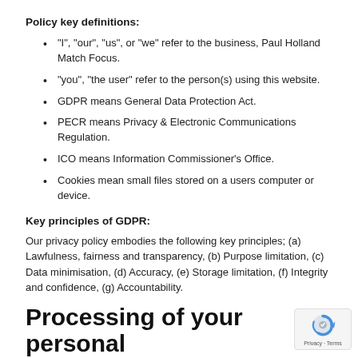Policy key definitions:
“I”, “our”, “us”, or “we” refer to the business, Paul Holland Match Focus.
“you”, “the user” refer to the person(s) using this website.
GDPR means General Data Protection Act.
PECR means Privacy & Electronic Communications Regulation.
ICO means Information Commissioner’s Office.
Cookies mean small files stored on a users computer or device.
Key principles of GDPR:
Our privacy policy embodies the following key principles; (a) Lawfulness, fairness and transparency, (b) Purpose limitation, (c) Data minimisation, (d) Accuracy, (e) Storage limitation, (f) Integrity and confidence, (g) Accountability.
Processing of your personal data